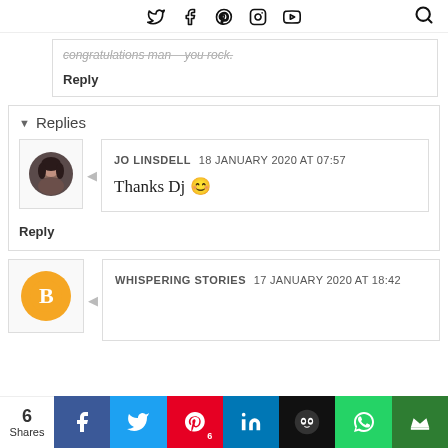Navigation bar with social icons (Twitter, Facebook, Pinterest, Instagram, YouTube) and search
congratulations man – you rock.
Reply
Replies
[Figure (photo): Avatar photo of Jo Linsdell, circular profile picture]
JO LINSDELL  18 JANUARY 2020 AT 07:57
Thanks Dj 😊
Reply
WHISPERING STORIES  17 JANUARY 2020 AT 18:42
6 Shares | Facebook | Twitter | Pinterest 6 | LinkedIn | Owly | WhatsApp | Crown